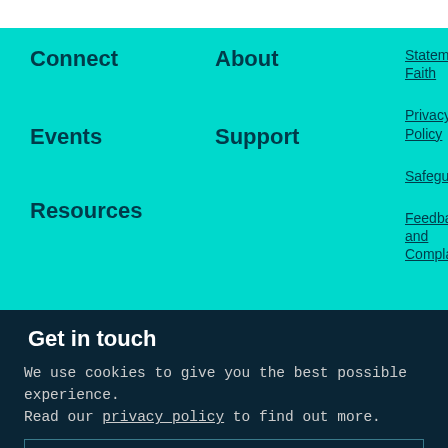Connect
About
Statement of Faith
Privacy Policy
Events
Support
Safeguarding
Resources
Feedback and Complaints
Get in touch
Unit D1, Promotionhouse
01659 255615
info@childhope.org.uk
Facebook / Instagram / Twitter / Youtube
We use cookies to give you the best possible experience. Read our privacy policy to find out more.
GOT IT